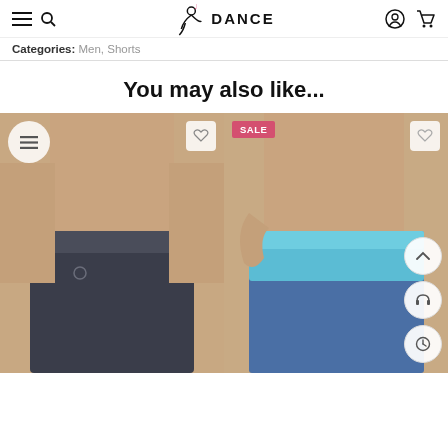DANCE — navigation header with hamburger menu, search, logo, user and cart icons
Categories: Men, Shorts
You may also like...
[Figure (photo): Man wearing dark navy blue boxer shorts/briefs, shirtless, product photo]
[Figure (photo): Man wearing two-tone light blue and navy blue shorts/briefs, shirtless, product photo with SALE badge]